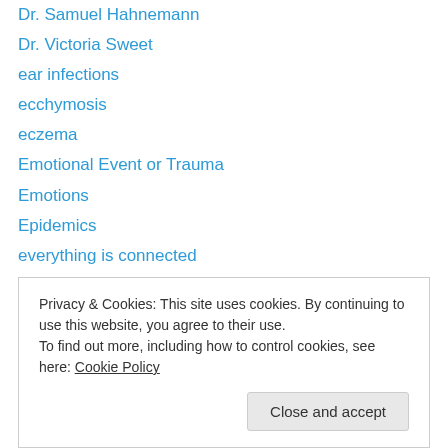Dr. Samuel Hahnemann
Dr. Victoria Sweet
ear infections
ecchymosis
eczema
Emotional Event or Trauma
Emotions
Epidemics
everything is connected
failure to thrive
falls and blows
Families
Families Using Homeopathy
Privacy & Cookies: This site uses cookies. By continuing to use this website, you agree to their use. To find out more, including how to control cookies, see here: Cookie Policy
first aid